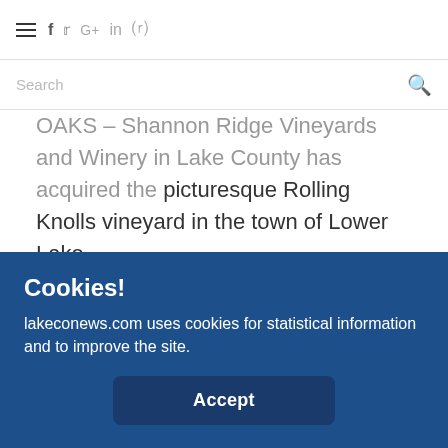≡ f t G+ in ⊕
Search
OAKS – Shannon Ridge Vineyards and Winery in Lake County has acquired the picturesque Rolling Knolls vineyard in the town of Lower Lake.
The property includes approximately 240 acres of vineyards, two small cottages and an old walnut dehydrator structure, which will be converted into a tasting
Cookies!
lakeconews.com uses cookies for statistical information and to improve the site.
Accept